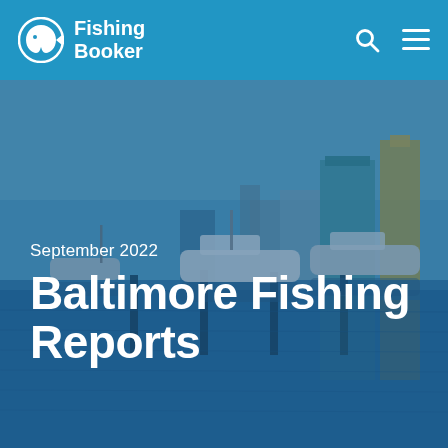Fishing Booker
September 2022
Baltimore Fishing Reports
[Figure (photo): Baltimore Inner Harbor marina with boats moored at docks, city skyline with skyscrapers in background, blue-toned image with water reflections, dark blue overlay]